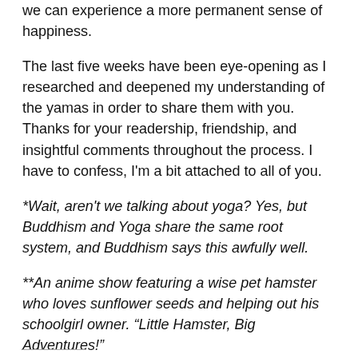we can experience a more permanent sense of happiness.
The last five weeks have been eye-opening as I researched and deepened my understanding of the yamas in order to share them with you. Thanks for your readership, friendship, and insightful comments throughout the process. I have to confess, I'm a bit attached to all of you.
*Wait, aren't we talking about yoga? Yes, but Buddhism and Yoga share the same root system, and Buddhism says this awfully well.
**An anime show featuring a wise pet hamster who loves sunflower seeds and helping out his schoolgirl owner. “Little Hamster, Big Adventures!”